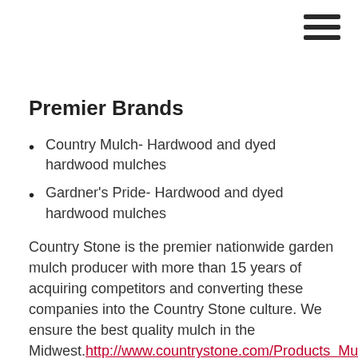[Figure (other): Hamburger menu icon with three horizontal bars]
Premier Brands
Country Mulch- Hardwood and dyed hardwood mulches
Gardner's Pride- Hardwood and dyed hardwood mulches
Country Stone is the premier nationwide garden mulch producer with more than 15 years of acquiring competitors and converting these companies into the Country Stone culture. We ensure the best quality mulch in the Midwest.http://www.countrystone.com/Products_MulchM